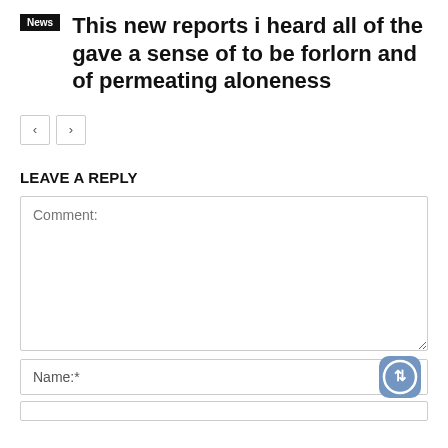This new reports i heard all of the gave a sense of to be forlorn and of permeating aloneness
News
LEAVE A REPLY
Comment:
Name:*